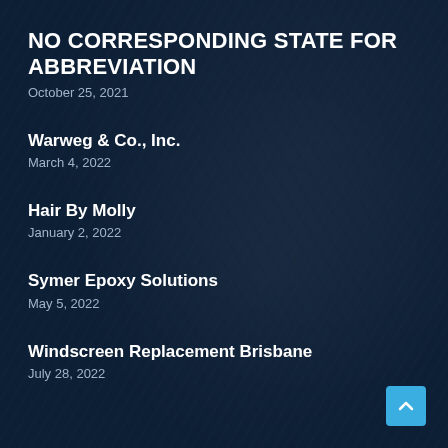NO CORRESPONDING STATE FOR ABBREVIATION
October 25, 2021
Warweg & Co., Inc.
March 4, 2022
Hair By Molly
January 2, 2022
Symer Epoxy Solutions
May 5, 2022
Windscreen Replacement Brisbane
July 28, 2022